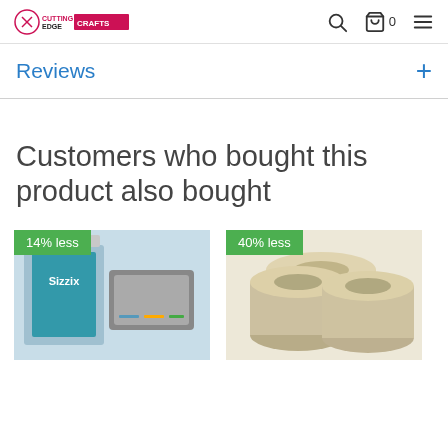Cutting Edge Crafts — header with search, cart (0), and menu icons
Reviews +
Customers who bought this product also bought
[Figure (photo): Product image with '14% less' green badge — Sizzix product package]
[Figure (photo): Product image with '40% less' green badge — masking tape rolls]